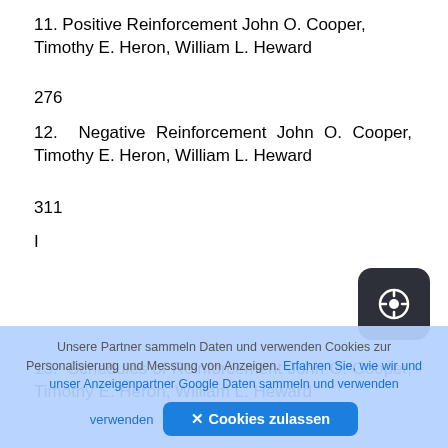11. Positive Reinforcement John O. Cooper, Timothy E. Heron, William L. Heward
276
12. Negative Reinforcement John O. Cooper, Timothy E. Heron, William L. Heward
311
I
13. Schedules of Reinforcement John O. Cooper, Timothy E. Heron, William L. Heward
Unsere Partner sammeln Daten und verwenden Cookies zur Personalisierung und Messung von Anzeigen. Erfahren Sie, wie wir und unser Anzeigenpartner Google Daten sammeln und verwenden
✕ Cookies zulassen